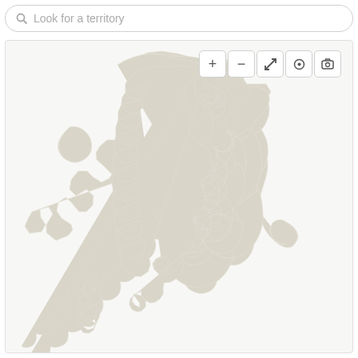Look for a territory
[Figure (map): Interactive map of Italy showing regional/provincial boundaries. Most regions are filled in light beige/tan. A small coastal area (Liguria coast near Genoa) is highlighted in teal/green. Map includes Sardinia island in lower left. The map has zoom controls (+, -, resize, target, camera) in upper right corner.]